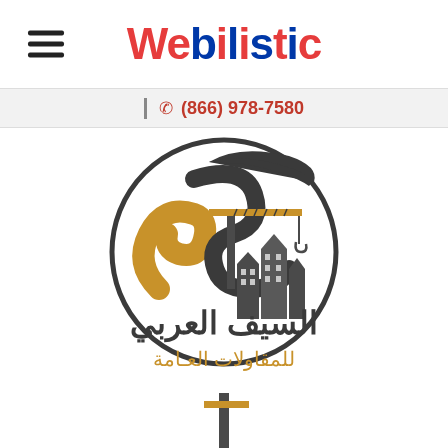Webilistic
(866) 978-7580
[Figure (logo): Al-Saif Al-Arabi General Contracting company logo — circular emblem with stylized S-shape in dark grey and gold, construction crane in yellow/grey, building silhouettes. Arabic text below: السيف العربي للمقاولات العامة]